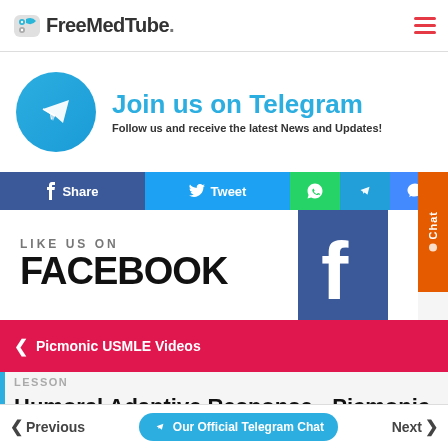FreeMedTube.
[Figure (infographic): Join us on Telegram banner with Telegram logo circle and text: Join us on Telegram. Follow us and receive the latest News and Updates!]
[Figure (infographic): Social share bar with Facebook Share, Twitter Tweet, WhatsApp, Telegram, Messenger, and more share buttons]
[Figure (infographic): Like us on Facebook section with Facebook logo icon]
Picmonic USMLE Videos
LESSON
Humoral Adaptive Response - Picmonic USMLE Vid…
Previous | Our Official Telegram Chat | Next